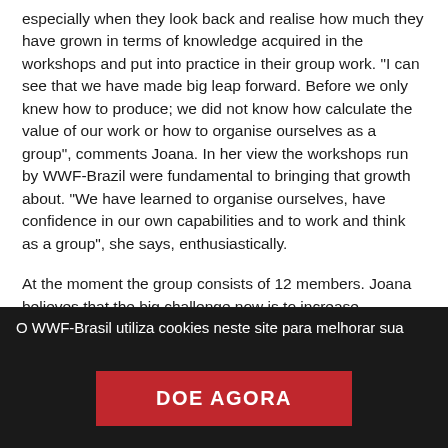especially when they look back and realise how much they have grown in terms of knowledge acquired in the workshops and put into practice in their group work. “I can see that we have made big leap forward. Before we only knew how to produce; we did not know how calculate the value of our work or how to organise ourselves as a group”, comments Joana. In her view the workshops run by WWF-Brazil were fundamental to bringing that growth about. "We have learned to organise ourselves, have confidence in our own capabilities and to work and think as a group", she says, enthusiastically.
At the moment the group consists of 12 members. Joana believes that the big challenge now is to increase production and that makes it necessary to increase the number of participants. That was the purpose of the workshop held in October, which was attended by 30 women. Four of them
O WWF-Brasil utiliza cookies neste site para melhorar sua
DOE AGORA